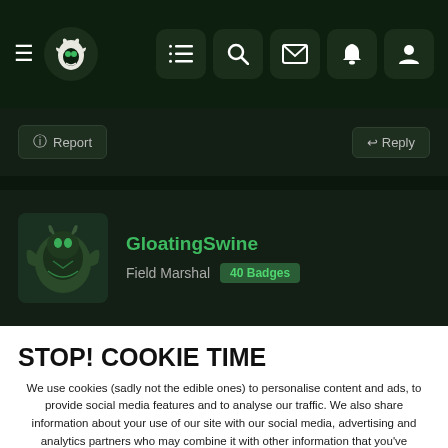[Figure (screenshot): Dark themed website navigation bar with hamburger menu, site logo, and icon buttons for list, search, mail, notifications, and user profile]
⊙ Report
↩ Reply
GloatingSwine
Field Marshal  40 Badges
STOP! COOKIE TIME
We use cookies (sadly not the edible ones) to personalise content and ads, to provide social media features and to analyse our traffic. We also share information about your use of our site with our social media, advertising and analytics partners who may combine it with other information that you've provided to them or that they've collected from your use of their services. You consent to our cookies if you continue to use this website.
✓ ACCEPT